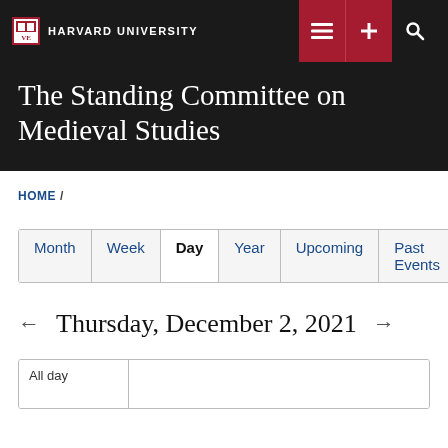HARVARD UNIVERSITY
The Standing Committee on Medieval Studies
HOME /
Month | Week | Day | Year | Upcoming | Past Events
← Thursday, December 2, 2021 →
| All day |  |
| --- | --- |